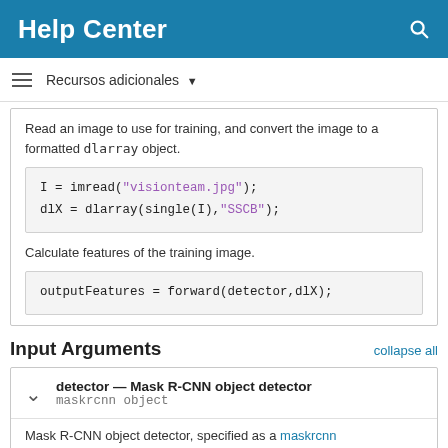Help Center
Recursos adicionales
Read an image to use for training, and convert the image to a formatted dlarray object.
Calculate features of the training image.
Input Arguments
collapse all
detector — Mask R-CNN object detector
maskrcnn object
Mask R-CNN object detector, specified as a maskrcnn